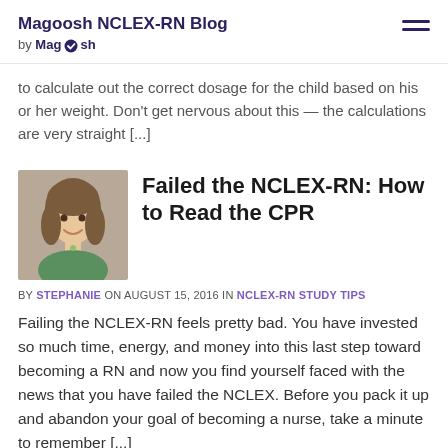Magoosh NCLEX-RN Blog by Magoosh
to calculate out the correct dosage for the child based on his or her weight. Don't get nervous about this — the calculations are very straight [...]
Failed the NCLEX-RN: How to Read the CPR
BY STEPHANIE ON AUGUST 15, 2016 IN NCLEX-RN STUDY TIPS
Failing the NCLEX-RN feels pretty bad. You have invested so much time, energy, and money into this last step toward becoming a RN and now you find yourself faced with the news that you have failed the NCLEX. Before you pack it up and abandon your goal of becoming a nurse, take a minute to remember [...]